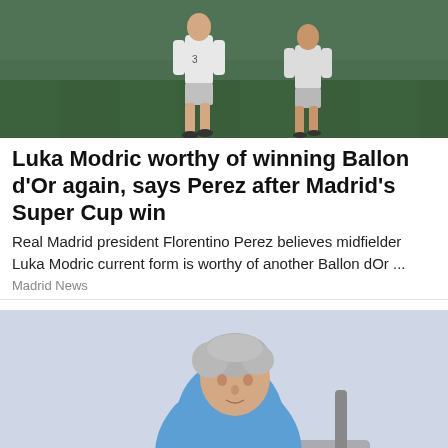[Figure (photo): Two soccer players in white uniforms on a green field]
Luka Modric worthy of winning Ballon d'Or again, says Perez after Madrid's Super Cup win
Real Madrid president Florentino Perez believes midfielder Luka Modric current form is worthy of another Ballon dOr ...
Madrid News
[Figure (photo): Middle-aged woman with short grey hair wearing a blue long-sleeve shirt, sitting on a chair and holding her knee/foot, possibly in pain, against a light grey background]